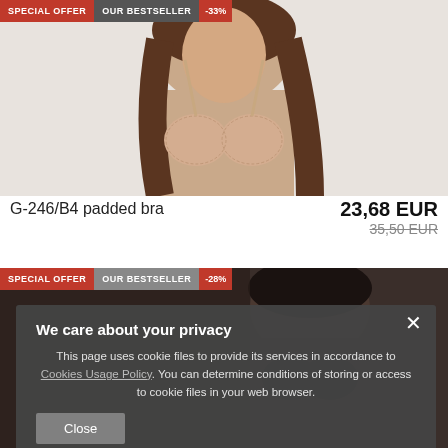[Figure (photo): Product photo of a woman wearing a nude/beige padded bra, upper body shot on light grey background, with SPECIAL OFFER, OUR BESTSELLER and -33% badges]
G-246/B4 padded bra
23,68 EUR
35,50 EUR
[Figure (photo): Product photo of a woman wearing dark lingerie, partially obscured by privacy popup, with SPECIAL OFFER, OUR BESTSELLER and -28% badges]
We care about your privacy

This page uses cookie files to provide its services in accordance to Cookies Usage Policy. You can determine conditions of storing or access to cookie files in your web browser.

Close